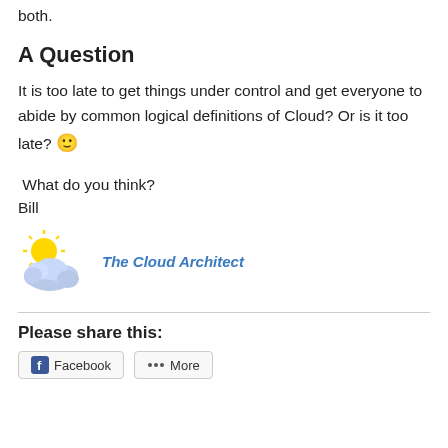both.
A Question
It is too late to get things under control and get everyone to abide by common logical definitions of Cloud? Or is it too late? 🙂
What do you think?
Bill
[Figure (logo): Cloud Architect logo with sun and cloud illustration, with text 'The Cloud Architect']
Please share this:
Facebook   More